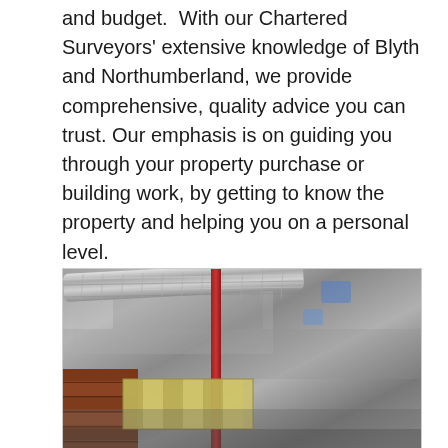and budget.  With our Chartered Surveyors' extensive knowledge of Blyth and Northumberland, we provide comprehensive, quality advice you can trust. Our emphasis is on guiding you through your property purchase or building work, by getting to know the property and helping you on a personal level.
[Figure (photo): Interior photograph showing a building ceiling with a silver corrugated pipe, a red pipe, concrete ceiling, brick wall, insulation materials, and blue paint marks.]